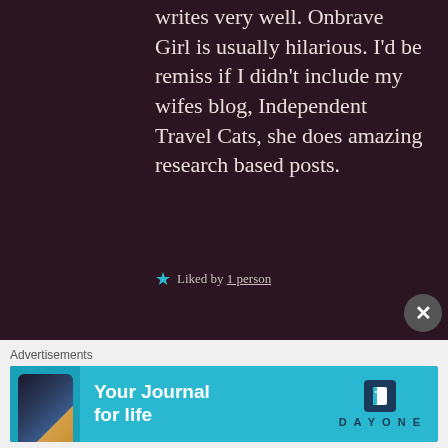writes very well. Onbrave Girl is usually hilarious. I'd be remiss if I didn't include my wifes blog, Independent Travel Cats, she does amazing research based posts.
★ Liked by 1 person
[Figure (screenshot): Advertisement banner for Day One journal app with cyan/teal background, phone image on left, bold text 'Your Journal for life' in center, Day One logo on right]
Advertisements